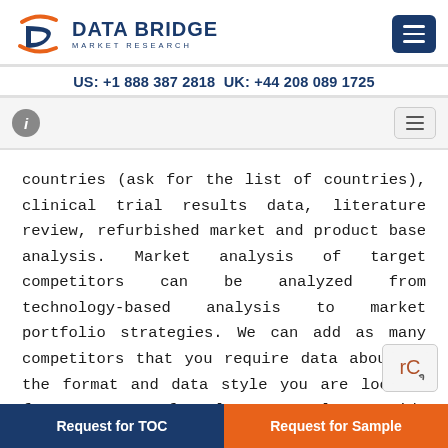DATA BRIDGE MARKET RESEARCH | US: +1 888 387 2818 UK: +44 208 089 1725
countries (ask for the list of countries), clinical trial results data, literature review, refurbished market and product base analysis. Market analysis of target competitors can be analyzed from technology-based analysis to market portfolio strategies. We can add as many competitors that you require data about in the format and data style you are looking for. Our team of analysts can also provide you data in crude raw excel files pivot tables (Fact book) or can assist you in creating presentations from the data sets available